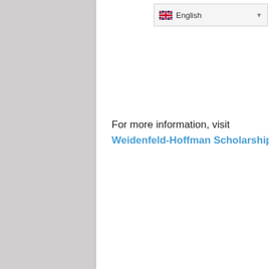English
For more information, visit Weidenfeld-Hoffman Scholarships and Leadership Programme.